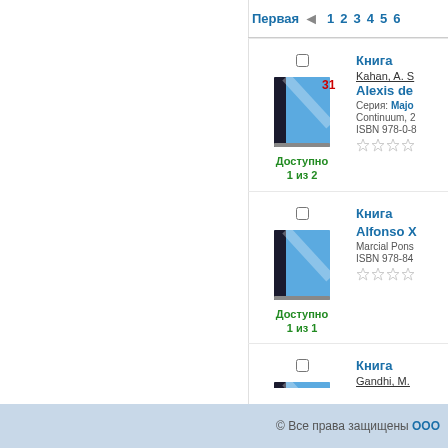Первая 1 2 3 4 5 6
[Figure (illustration): Blue book cover icon with number badge 31]
Доступно
1 из 2
Книга
Kahan, A. S
Alexis de
Серия: Majo
Continuum, 2
ISBN 978-0-8
[Figure (illustration): Blue book cover icon]
Доступно
1 из 1
Книга
Alfonso X
Marcial Pons
ISBN 978-84
[Figure (illustration): Blue book cover icon]
Доступно
1 из 1
Книга
Gandhi, M.
All men a
Continuum, 2
ISBN 978-0-8
© Все права защищены ООО